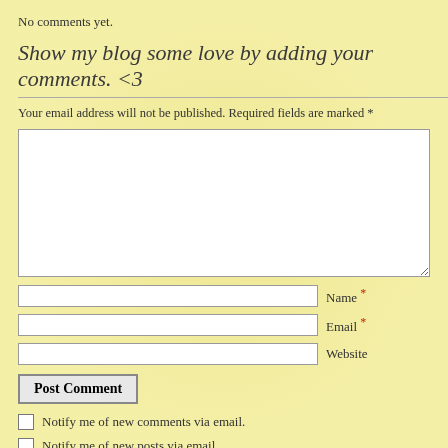No comments yet.
Show my blog some love by adding your comments. <3
Your email address will not be published. Required fields are marked *
[Figure (screenshot): Comment form with textarea, name/email/website fields, Post Comment button, two notification checkboxes, and Akismet spam notice.]
This site uses Akismet to reduce spam. Learn how your comment data is